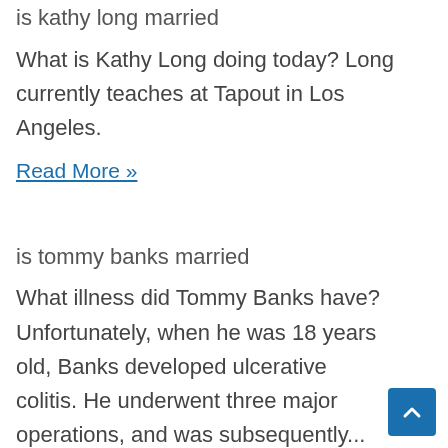is kathy long married
What is Kathy Long doing today? Long currently teaches at Tapout in Los Angeles.
Read More »
is tommy banks married
What illness did Tommy Banks have? Unfortunately, when he was 18 years old, Banks developed ulcerative colitis. He underwent three major operations, and was subsequently...